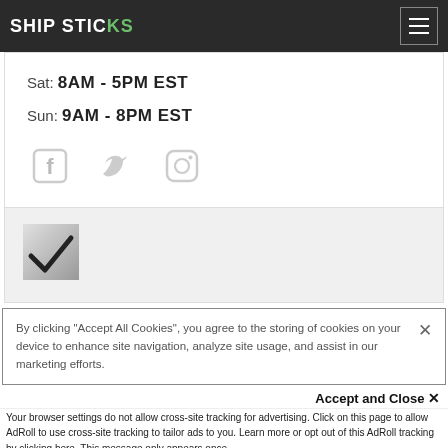SHIP STICKS
Sat: 8AM - 5PM EST
Sun: 9AM - 8PM EST
[Figure (illustration): Social media icons: Facebook, Twitter, Instagram]
[Figure (logo): Checkmark badge logo image]
By clicking "Accept All Cookies", you agree to the storing of cookies on your device to enhance site navigation, analyze site usage, and assist in our marketing efforts.
Accept and Close ×
Your browser settings do not allow cross-site tracking for advertising. Click on this page to allow AdRoll to use cross-site tracking to tailor ads to you. Learn more or opt out of this AdRoll tracking by clicking here. This message only appears once.